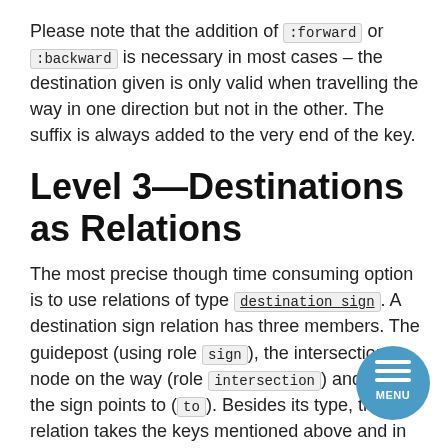Please note that the addition of :forward or :backward is necessary in most cases – the destination given is only valid when travelling the way in one direction but not in the other. The suffix is always added to the very end of the key.
Level 3—Destinations as Relations
The most precise though time consuming option is to use relations of type destination sign. A destination sign relation has three members. The guidepost (using role sign), the intersection node on the way (role intersection) and the way the sign points to (to). Besides its type, the relation takes the keys mentioned above and in addition:
distance=* —the distance to the listed destination as shown on the sign. Default unit are kilometers,